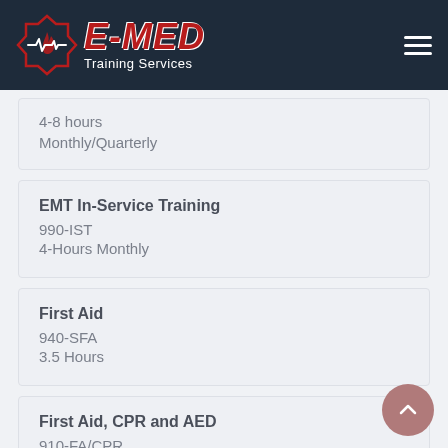E-MED Training Services
4-8 hours
Monthly/Quarterly
EMT In-Service Training
990-IST
4-Hours Monthly
First Aid
940-SFA
3.5 Hours
First Aid, CPR and AED
910-FA/CPR